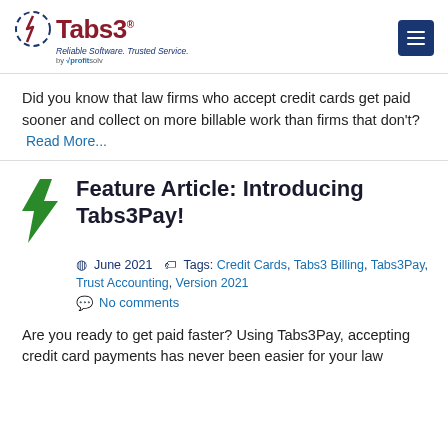[Figure (logo): Tabs3 logo with lightning bolt icon, tagline 'Reliable Software. Trusted Service. by profitsolv' and hamburger menu button]
Did you know that law firms who accept credit cards get paid sooner and collect on more billable work than firms that don't? Read More...
Feature Article: Introducing Tabs3Pay!
June 2021  Tags: Credit Cards, Tabs3 Billing, Tabs3Pay, Trust Accounting, Version 2021
No comments
Are you ready to get paid faster? Using Tabs3Pay, accepting credit card payments has never been easier for your law